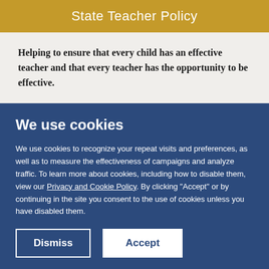State Teacher Policy
Helping to ensure that every child has an effective teacher and that every teacher has the opportunity to be effective.
We use cookies
We use cookies to recognize your repeat visits and preferences, as well as to measure the effectiveness of campaigns and analyze traffic. To learn more about cookies, including how to disable them, view our Privacy and Cookie Policy. By clicking "Accept" or by continuing in the site you consent to the use of cookies unless you have disabled them.